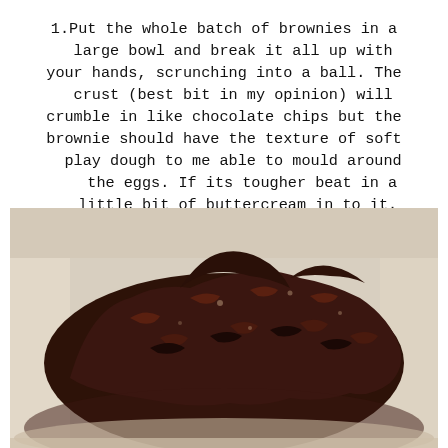1.Put the whole batch of brownies in a large bowl and break it all up with your hands, scrunching into a ball. The crust (best bit in my opinion) will crumble in like chocolate chips but the brownie should have the texture of soft play dough to me able to mould around the eggs. If its tougher beat in a little bit of buttercream in to it.
[Figure (photo): A close-up photo of crumbled dark chocolate brownies broken up in a large bowl, showing the chunky crumbled texture with a light-colored bowl/surface visible around the edges.]